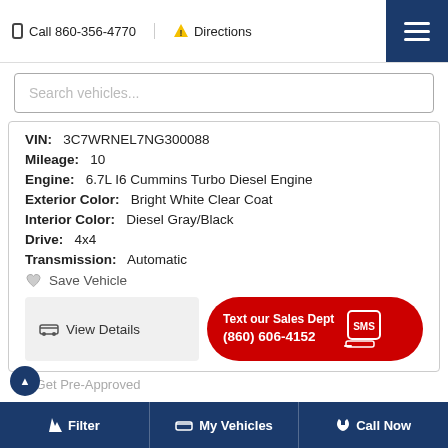Call 860-356-4770  Directions
Search vehicles...
| Field | Value |
| --- | --- |
| VIN: | 3C7WRNEL7NG300088 |
| Mileage: | 10 |
| Engine: | 6.7L I6 Cummins Turbo Diesel Engine |
| Exterior Color: | Bright White Clear Coat |
| Interior Color: | Diesel Gray/Black |
| Drive: | 4x4 |
| Transmission: | Automatic |
Save Vehicle
View Details
Text our Sales Dept (860) 606-4152
Filter  My Vehicles  Call Now